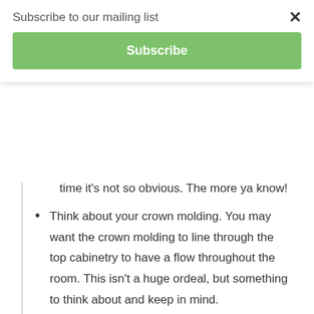Subscribe to our mailing list
×
Subscribe
time it's not so obvious. The more ya know!
Think about your crown molding. You may want the crown molding to line through the top cabinetry to have a flow throughout the room. This isn't a huge ordeal, but something to think about and keep in mind.
It's funny that I thought designing the cabinetry was the hard stuff because picking